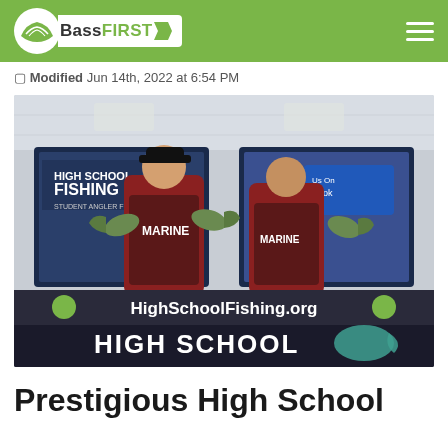BassFIRST
Modified Jun 14th, 2022 at 6:54 PM
[Figure (photo): Two young anglers in matching marine fishing jerseys standing at a weigh-in podium holding up bass fish they caught. Behind them are screens showing 'High School Fishing' branding. The podium displays 'HighSchoolFishing.org' and logos. At the bottom of the podium it reads 'HIGH SCHOOL FISHING'.]
Prestigious High School